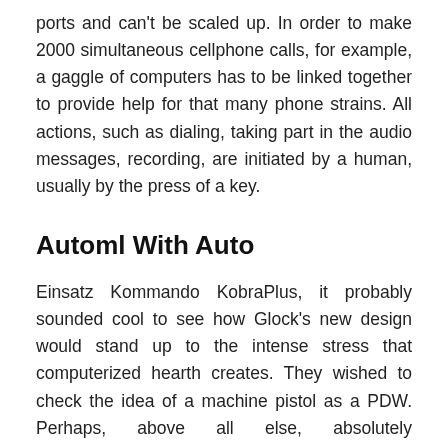ports and can't be scaled up. In order to make 2000 simultaneous cellphone calls, for example, a gaggle of computers has to be linked together to provide help for that many phone strains. All actions, such as dialing, taking part in the audio messages, recording, are initiated by a human, usually by the press of a key.
Automl With Auto
Einsatz Kommando KobraPlus, it probably sounded cool to see how Glock's new design would stand up to the intense stress that computerized hearth creates. They wished to check the idea of a machine pistol as a PDW. Perhaps, above all else, absolutely computerized capabilities jammed right into a